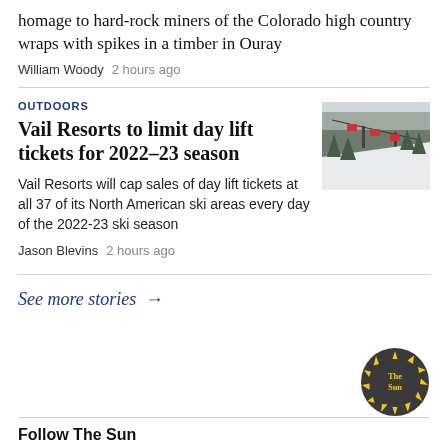homage to hard-rock miners of the Colorado high country wraps with spikes in a timber in Ouray
William Woody   2 hours ago
OUTDOORS
Vail Resorts to limit day lift tickets for 2022–23 season
[Figure (photo): Ski lift chairs on a snowy mountain slope with trees in background]
Vail Resorts will cap sales of day lift tickets at all 37 of its North American ski areas every day of the 2022-23 ski season
Jason Blevins   2 hours ago
See more stories →
[Figure (logo): The Sun circular logo with sunburst rays in yellow and dark grey]
Follow The Sun